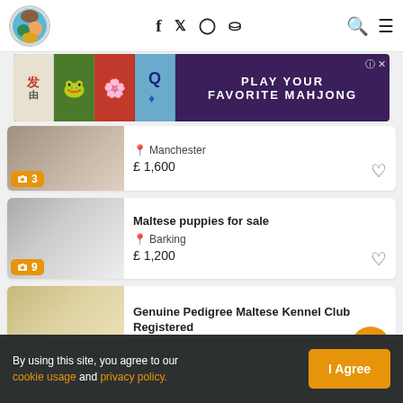Pet classifieds site header with logo, social icons (Facebook, Twitter, Instagram, Pinterest), search and menu
[Figure (screenshot): Mahjong advertisement banner: Play Your Favorite Mahjong]
Manchester — £ 1,600 — 3 photos
Maltese puppies for sale — Barking — £ 1,200 — 9 photos
Genuine Pedigree Maltese Kennel Club Registered — £ 2,800 — 6 photos
By using this site, you agree to our cookie usage and privacy policy.